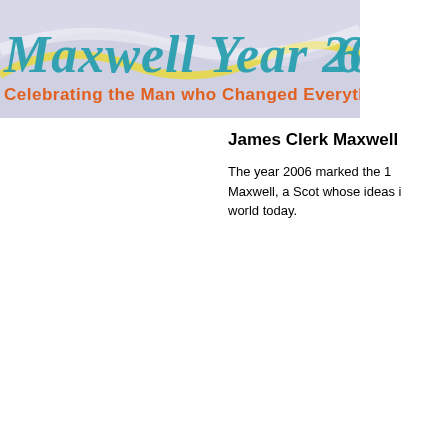[Figure (illustration): Maxwell Year 2006 banner with decorative wave design. Large stylized text reads 'Maxwell Year 2006' in teal/blue script font. Below it reads 'Celebrating the Man who Changed Everything!' in orange text. Background is light lavender/purple with yellow and white wave shapes.]
James Clerk Maxwell
The year 2006 marked the 1... Maxwell, a Scot whose ideas i... world today.